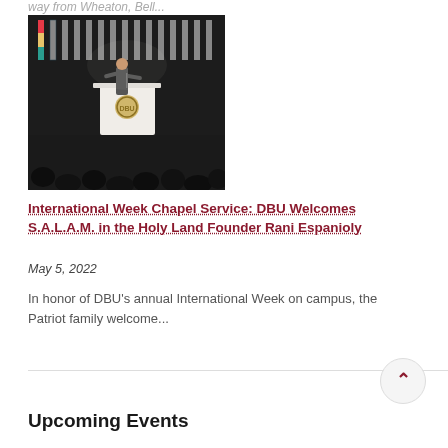way from Wheaton, Bell...
[Figure (photo): Speaker at a podium on a stage with international flags in the background and an audience visible in the foreground]
International Week Chapel Service: DBU Welcomes S.A.L.A.M. in the Holy Land Founder Rani Espanioly
May 5, 2022
In honor of DBU's annual International Week on campus, the Patriot family welcome...
Upcoming Events